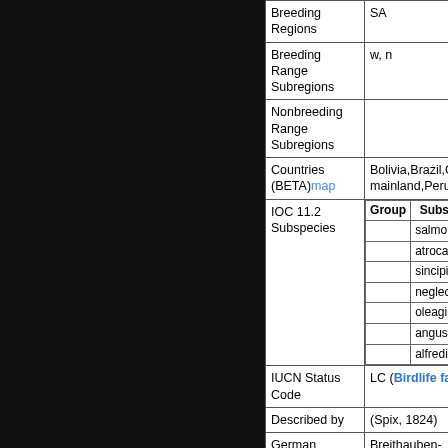| Field | Value |
| --- | --- |
| Breeding Regions | SA |
| Breeding Range Subregions | w, n |
| Nonbreeding Range Subregions |  |
| Countries (BETA) map | Bolivia,Brazil,Colombia mainland,Peru,Venez... |
| IOC 11.2 Subspecies | Group | Subspecies
 | salmoni
 | atrocastaneus
 | sincipitalis
 | neglectus
 | oleagineus
 | angustifrons
 | alfredi |
| IUCN Status Code | LC (Birdlife factshee...) |
| Described by | (Spix, 1824) |
| German | Breithauben-Stirnvoge... |
| French | Cassique roussâtre |
| Chinese | □□□□□ |